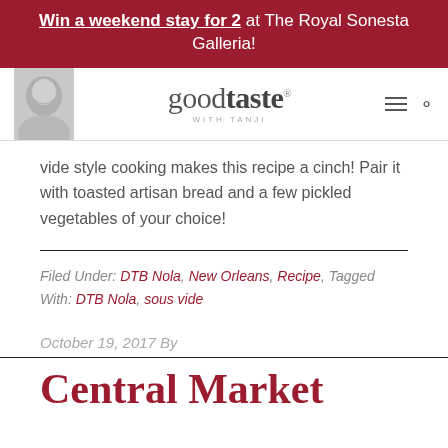Win a weekend stay for 2 at The Royal Sonesta Galleria!
[Figure (screenshot): Good Taste with Tanji website header with logo and navigation icons]
vide style cooking makes this recipe a cinch! Pair it with toasted artisan bread and a few pickled vegetables of your choice!
Filed Under: DTB Nola, New Orleans, Recipe, Tagged With: DTB Nola, sous vide
October 19, 2017 By
Central Market